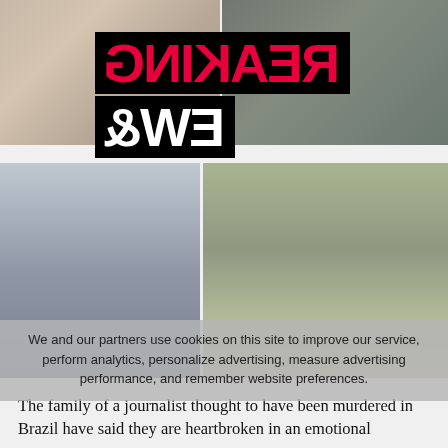[Figure (photo): Two photos at top: left shows a smiling woman outdoors, right shows a man from shoulders up]
[Figure (photo): Breaking News banner overlaid on top photos with mirrored/reflected text reading BREAKING NEWS in red and white on black backgrounds]
[Figure (photo): Two photos side by side: left shows a man in black Adidas tracksuit smiling, right shows a man and woman smiling together outdoors near water]
We and our partners use cookies on this site to improve our service, perform analytics, personalize advertising, measure advertising performance, and remember website preferences.
The family of a journalist thought to have been murdered in Brazil have said they are heartbroken in an emotional